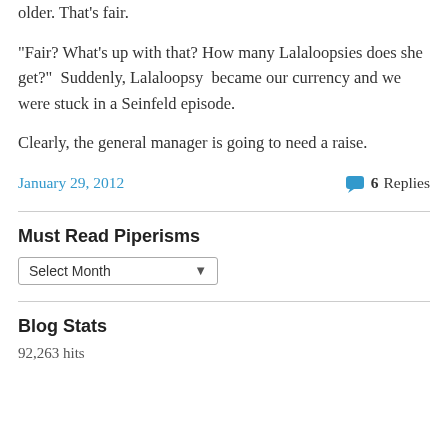older. That's fair.
“Fair? What’s up with that? How many Lalaloopsies does she get?”  Suddenly, Lalaloopsy  became our currency and we were stuck in a Seinfeld episode.
Clearly, the general manager is going to need a raise.
January 29, 2012
6 Replies
Must Read Piperisms
Select Month
Blog Stats
92,263 hits